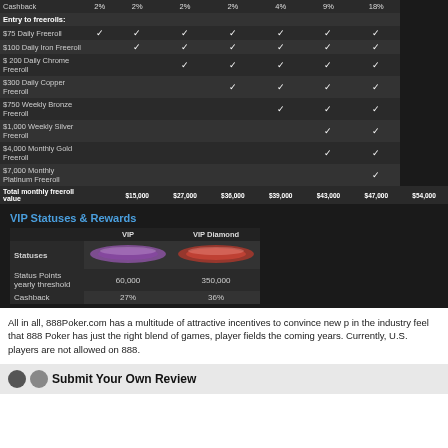|  |  |  |  |  |  |  |  |  |
| --- | --- | --- | --- | --- | --- | --- | --- | --- |
| Cashback | 2% | 2% | 2% | 2% | 4% | 9% | 18% |
| Entry to freerolls: |  |  |  |  |  |  |  |
| $75 Daily Freeroll | ✓ | ✓ | ✓ | ✓ | ✓ | ✓ | ✓ |
| $100 Daily Iron Freeroll |  | ✓ | ✓ | ✓ | ✓ | ✓ | ✓ |
| $ 200 Daily Chrome Freeroll |  |  | ✓ | ✓ | ✓ | ✓ | ✓ |
| $300 Daily Copper Freeroll |  |  |  | ✓ | ✓ | ✓ | ✓ |
| $750 Weekly Bronze Freeroll |  |  |  |  | ✓ | ✓ | ✓ |
| $1,000 Weekly Silver Freeroll |  |  |  |  |  | ✓ | ✓ |
| $4,000 Monthly Gold Freeroll |  |  |  |  |  | ✓ | ✓ |
| $7,000 Monthly Platinum Freeroll |  |  |  |  |  |  | ✓ |
| Total monthly freeroll value | $15,000 | $27,000 | $36,000 | $39,000 | $43,000 | $47,000 | $54,000 |
VIP Statuses & Rewards
|  | VIP | VIP Diamond |
| --- | --- | --- |
| Statuses | [purple image] | [red image] |
| Status Points yearly threshold | 60,000 | 350,000 |
| Cashback | 27% | 36% |
All in all, 888Poker.com has a multitude of attractive incentives to convince new p... in the industry feel that 888 Poker has just the right blend of games, player fields... the coming years. Currently, U.S. players are not allowed on 888.
Submit Your Own Review